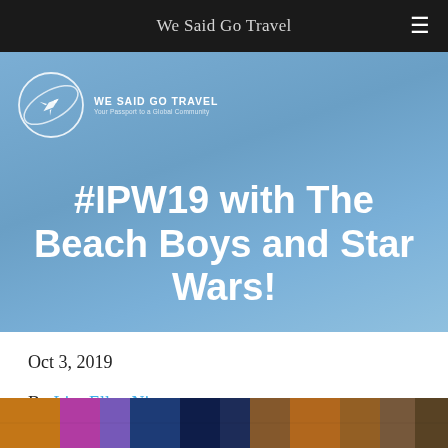We Said Go Travel
[Figure (screenshot): We Said Go Travel website hero banner with logo (airplane in circle) and blog post title '#IPW19 with The Beach Boys and Star Wars!' on a blue gradient background]
#IPW19 with The Beach Boys and Star Wars!
Oct 3, 2019
By Lisa Ellen Niver
[Figure (photo): Colorful photo strip at bottom of page showing travel scenes]